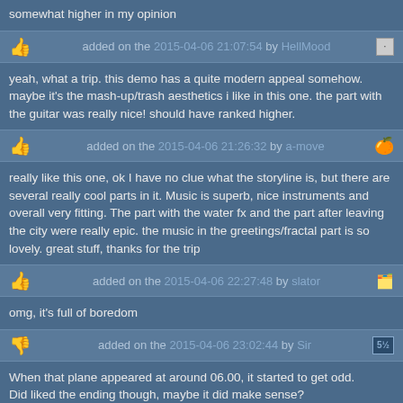somewhat higher in my opinion
added on the 2015-04-06 21:07:54 by HellMood
yeah, what a trip. this demo has a quite modern appeal somehow. maybe it's the mash-up/trash aesthetics i like in this one. the part with the guitar was really nice! should have ranked higher.
added on the 2015-04-06 21:26:32 by a-move
really like this one, ok I have no clue what the storyline is, but there are several really cool parts in it. Music is superb, nice instruments and overall very fitting. The part with the water fx and the part after leaving the city were really epic. the music in the greetings/fractal part is so lovely. great stuff, thanks for the trip
added on the 2015-04-06 22:27:48 by slator
omg, it's full of boredom
added on the 2015-04-06 23:02:44 by Sir
When that plane appeared at around 06.00, it started to get odd. Did liked the ending though, maybe it did make sense?
I'll have to rewatch this a couple of times to form a conclusion.